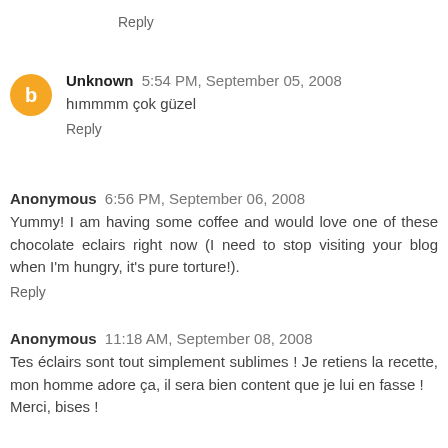Reply
Unknown 5:54 PM, September 05, 2008
hımmmm çok güzel
Reply
Anonymous 6:56 PM, September 06, 2008
Yummy! I am having some coffee and would love one of these chocolate eclairs right now (I need to stop visiting your blog when I'm hungry, it's pure torture!).
Reply
Anonymous 11:18 AM, September 08, 2008
Tes éclairs sont tout simplement sublimes ! Je retiens la recette, mon homme adore ça, il sera bien content que je lui en fasse !
Merci, bises !